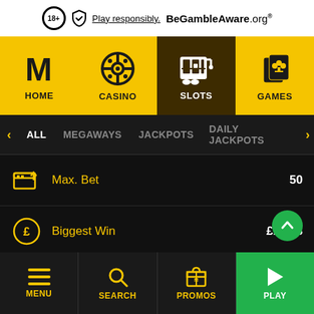Play responsibly. BeGambleAware.org
[Figure (screenshot): Navigation bar with HOME, CASINO, SLOTS (active), GAMES tabs on yellow/dark background]
[Figure (screenshot): Filter bar with ALL (active), MEGAWAYS, JACKPOTS, DAILY JACKPOTS tabs]
Max. Bet  50
Biggest Win  £1,313
Produced by  Eyecon
MENU  SEARCH  PROMOS  PLAY